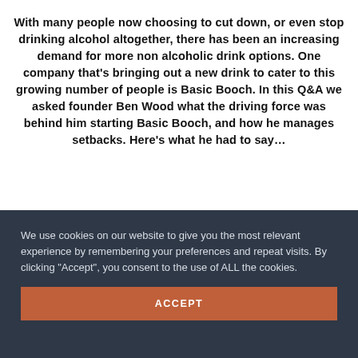With many people now choosing to cut down, or even stop drinking alcohol altogether, there has been an increasing demand for more non alcoholic drink options. One company that's bringing out a new drink to cater to this growing number of people is Basic Booch. In this Q&A we asked founder Ben Wood what the driving force was behind him starting Basic Booch, and how he manages setbacks. Here's what he had to say…
We use cookies on our website to give you the most relevant experience by remembering your preferences and repeat visits. By clicking "Accept", you consent to the use of ALL the cookies.